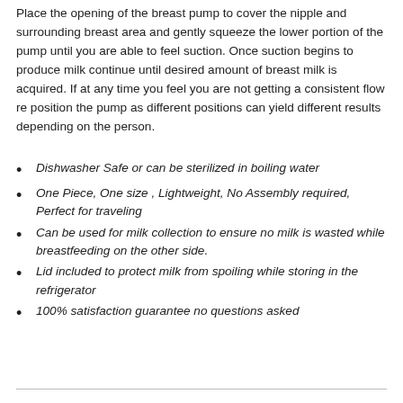Place the opening of the breast pump to cover the nipple and surrounding breast area and gently squeeze the lower portion of the pump until you are able to feel suction. Once suction begins to produce milk continue until desired amount of breast milk is acquired. If at any time you feel you are not getting a consistent flow re position the pump as different positions can yield different results depending on the person.
Dishwasher Safe or can be sterilized in boiling water
One Piece, One size , Lightweight, No Assembly required, Perfect for traveling
Can be used for milk collection to ensure no milk is wasted while breastfeeding on the other side.
Lid included to protect milk from spoiling while storing in the refrigerator
100% satisfaction guarantee no questions asked